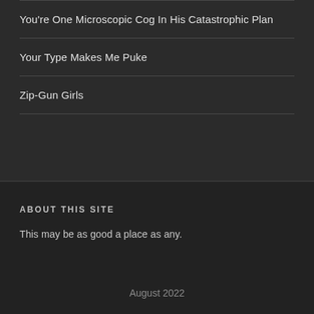You're One Microscopic Cog In His Catastrophic Plan
Your Type Makes Me Puke
Zip-Gun Girls
ABOUT THIS SITE
This may be as good a place as any.
August 2022